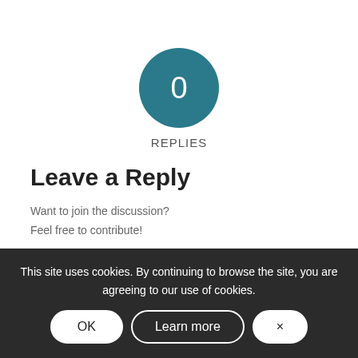[Figure (infographic): Teal circle with white '0' in the center]
REPLIES
Leave a Reply
Want to join the discussion?
Feel free to contribute!
Name *
Email *
This site uses cookies. By continuing to browse the site, you are agreeing to our use of cookies.
OK
Learn more
×